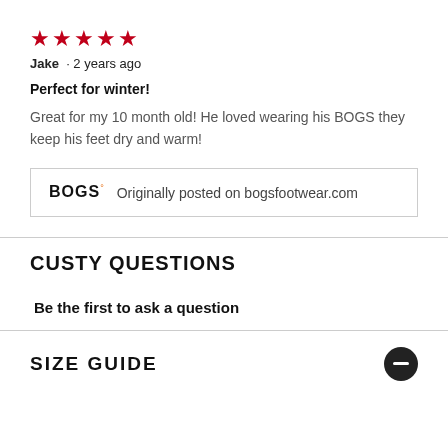[Figure (other): Five red star rating icons]
Jake · 2 years ago
Perfect for winter!
Great for my 10 month old! He loved wearing his BOGS they keep his feet dry and warm!
BOGS® Originally posted on bogsfootwear.com
CUSTY QUESTIONS
Be the first to ask a question
SIZE GUIDE